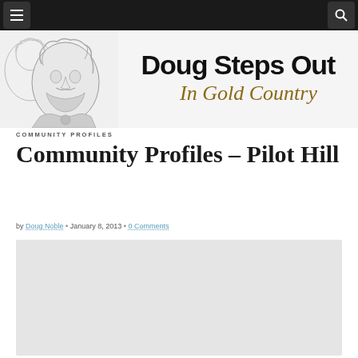[Navigation bar with hamburger menu and search icon]
[Figure (illustration): Black and white sketch illustration of a bearded man in historical clothing, with another face partially visible behind]
[Figure (logo): Doug Steps Out In Gold Country - site logo with bold stylized text]
COMMUNITY PROFILES
Community Profiles – Pilot Hill
by Doug Noble • January 8, 2013 • 0 Comments
[Figure (other): Gray placeholder content area]